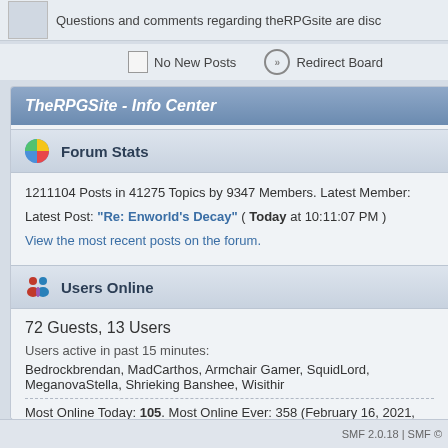Questions and comments regarding theRPGsite are disc
No New Posts   Redirect Board
TheRPGSite - Info Center
Forum Stats
1211104 Posts in 41275 Topics by 9347 Members. Latest Member:
Latest Post: "Re: Enworld's Decay" ( Today at 10:11:07 PM )
View the most recent posts on the forum.
Users Online
72 Guests, 13 Users
Users active in past 15 minutes:
Bedrockbrendan, MadCarthos, Armchair Gamer, SquidLord, MeganovaStella, Shrieking Banshee, Wisithir
Most Online Today: 105. Most Online Ever: 358 (February 16, 2021, 12:27:18
SMF 2.0.18 | SMF ©